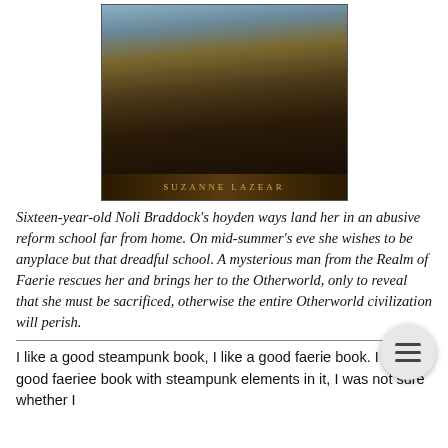[Figure (illustration): Book cover for a steampunk/faerie novel by Suzanne Lazear. Features a red-haired young woman in steampunk attire with goggles, a dark corset, and a teal feather in her hair. Background shows a Victorian-era cityscape with airships and industrial buildings. Author name 'SUZANNE LAZEAR' displayed at the bottom of the cover.]
Sixteen-year-old Noli Braddock's hoyden ways land her in an abusive reform school far from home. On mid-summer's eve she wishes to be anyplace but that dreadful school. A mysterious man from the Realm of Faerie rescues her and brings her to the Otherworld, only to reveal that she must be sacrificed, otherwise the entire Otherworld civilization will perish.
I like a good steampunk book, I like a good faerie book. I like a good faeriee book with steampunk elements in it, I was not sure whether I